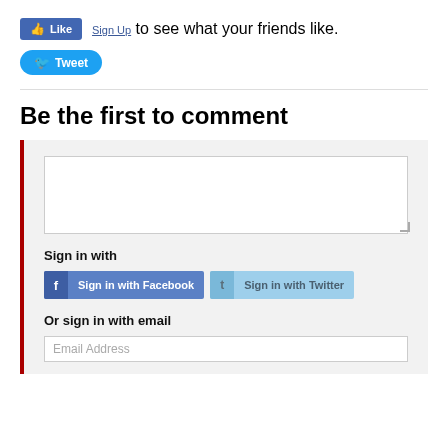[Figure (screenshot): Facebook Like button with thumbs up icon, blue background]
Sign Up to see what your friends like.
[Figure (screenshot): Twitter Tweet button with bird icon, blue rounded pill shape]
Be the first to comment
[Figure (screenshot): Comment form with text area, Sign in with Facebook and Twitter buttons, and email address field]
Sign in with
Sign in with Facebook
Sign in with Twitter
Or sign in with email
Email Address